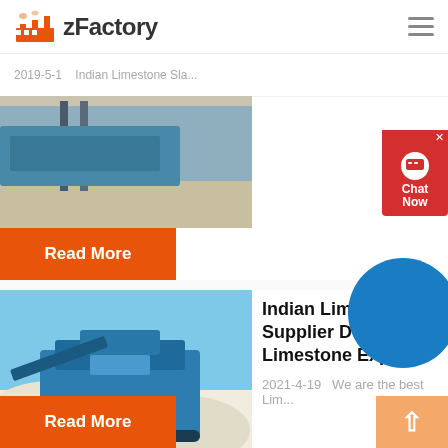zFactory
2019-5-1   Indian Limestone Sla...
[Figure (photo): Partial view of a construction site or industrial flooring area with blue machinery in background]
Read More
[Figure (photo): Blue mobile crushing/screening machine on a limestone quarry site with white stone aggregate piles]
Indian Limestone Supplier Decorative Limestone Exp...
2021-4-19   We are the best Lim...
Read More